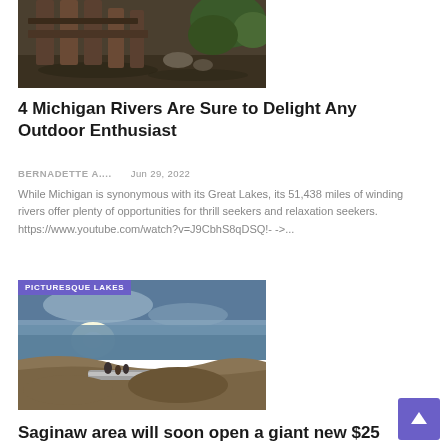[Figure (photo): Wooden bridge or dock structure over a river with water and greenery in the background]
4 Michigan Rivers Are Sure to Delight Any Outdoor Enthusiast
BERNADETTE A....   Jun 29, 2022
While Michigan is synonymous with its Great Lakes, its 51,438 miles of winding rivers offer plenty of opportunities for thrill seekers and relaxation seekers. https://www.youtube.com/watch?v=J9CbhS8qDSQ!-->...
[Figure (photo): Aerial landscape photo of a lake shore with sandy terrain and a bright sun reflection on the water. Badge label: PICTURESQUE LAKES]
Saginaw area will soon open a giant new $25 million...